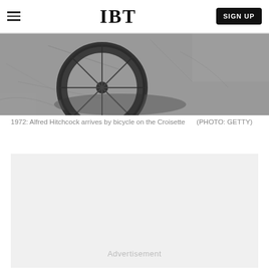IBT  SIGN UP
[Figure (photo): Black and white photograph showing a bicycle wheel on a cracked pavement surface, close-up ground-level view]
1972: Alfred Hitchcock arrives by bicycle on the Croisette    (PHOTO: GETTY)
Advertisement